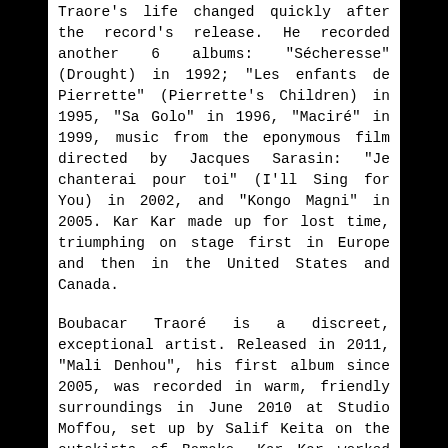Traore's life changed quickly after the record's release. He recorded another 6 albums: "Sécheresse" (Drought) in 1992; "Les enfants de Pierrette" (Pierrette's Children) in 1995, "Sa Golo" in 1996, "Maciré" in 1999, music from the eponymous film directed by Jacques Sarasin: "Je chanterai pour toi" (I'll Sing for You) in 2002, and "Kongo Magni" in 2005. Kar Kar made up for lost time, triumphing on stage first in Europe and then in the United States and Canada.
Boubacar Traoré is a discreet, exceptional artist. Released in 2011, "Mali Denhou", his first album since 2005, was recorded in warm, friendly surroundings in June 2010 at Studio Moffou, set up by Salif Keita on the outskirts of Bamako. Kar Kar worked with the same